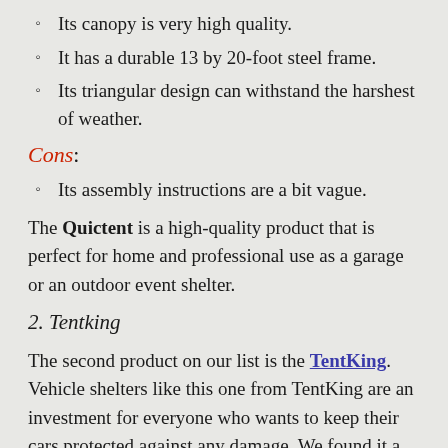Its canopy is very high quality.
It has a durable 13 by 20-foot steel frame.
Its triangular design can withstand the harshest of weather.
Cons:
Its assembly instructions are a bit vague.
The Quictent is a high-quality product that is perfect for home and professional use as a garage or an outdoor event shelter.
2. Tentking
The second product on our list is the TentKing. Vehicle shelters like this one from TentKing are an investment for everyone who wants to keep their cars protected against any damage. We found it a versatile